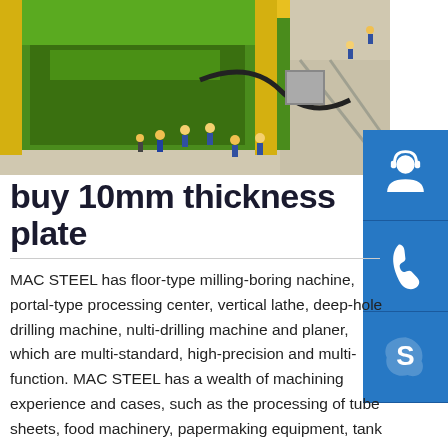[Figure (photo): Aerial view of a large green industrial milling/boring machine in a factory floor with workers in blue uniforms and yellow hard hats standing around it]
[Figure (infographic): Blue sidebar buttons: headset/support icon, phone icon, and Skype icon]
buy 10mm thickness plate
MAC STEEL has floor-type milling-boring nachine, portal-type processing center, vertical lathe, deep-hole drilling machine, nulti-drilling machine and planer, which are multi-standard, high-precision and multi-function. MAC STEEL has a wealth of machining experience and cases, such as the processing of tube sheets, food machinery, papermaking equipment, tank storage trucks, large oil tanks, pressure vessels, etc.